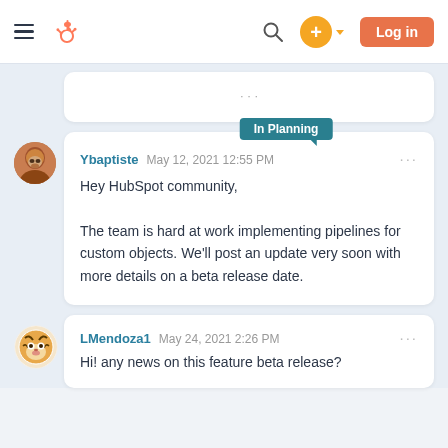HubSpot Community — Log in
Hey HubSpot community,

The team is hard at work implementing pipelines for custom objects. We'll post an update very soon with more details on a beta release date.
Ybaptiste  May 12, 2021 12:55 PM
Hi! any news on this feature beta release?
LMendoza1  May 24, 2021 2:26 PM